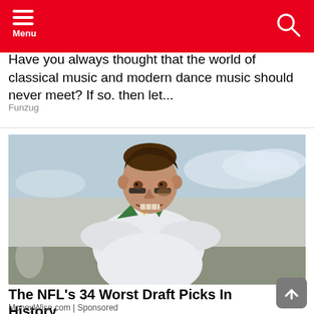Menu
Have you always thought that the world of classical music and modern dance music should never meet? If so, then let...
Funzug
[Figure (photo): A young male football player in a white jersey with green and yellow trim, wearing black eye-black under his eyes, grimacing on an outdoor field with cloudy sky background.]
The NFL's 34 Worst Draft Picks In History
MoneyWise.com | Sponsored